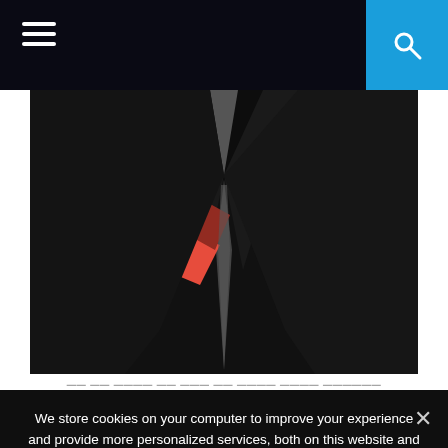[Figure (screenshot): Website navigation bar with hamburger menu icon on the left (dark background) and a blue search button on the right with a magnifying glass icon.]
[Figure (photo): Dark dramatic photo showing a figure in a dark suit with a red triangular shape/logo on the left side, against a very dark background. The image appears to be a website hero/banner image.]
We store cookies on your computer to improve your experience and provide more personalized services, both on this website and on other sites. For more information about the cookies we use, see our Privacy Policy. We won't track your information when you visit our site. We will have to use at least one cookie to ensure that you won't have to make this choice again.
ACCEPT
PRIVACY POLICY